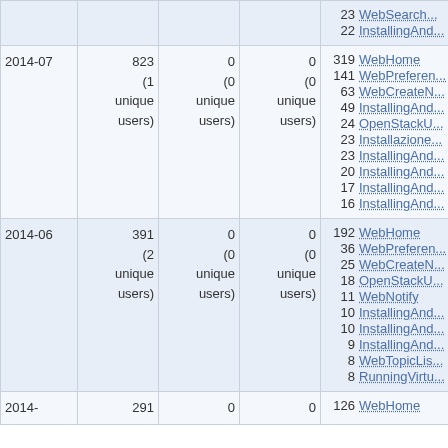| Date | Views | Edits | Unique users (views) | Top pages |
| --- | --- | --- | --- | --- |
|  |  |  |  | 23 WebSearch...
22 InstallingAnd... |
| 2014-07 | 823
(1 unique users) | 0
(0 unique users) | 0
(0 unique users) | 319 WebHome
141 WebPreferen...
63 WebCreateN...
49 InstallingAnd...
24 OpenStackU...
23 Installazione...
23 InstallingAnd...
20 InstallingAnd...
17 InstallingAnd...
16 InstallingAnd... |
| 2014-06 | 391
(2 unique users) | 0
(0 unique users) | 0
(0 unique users) | 192 WebHome
36 WebPreferen...
25 WebCreateN...
18 OpenStackU...
11 WebNotify
10 InstallingAnd...
10 InstallingAnd...
9 InstallingAnd...
8 WebTopicLis...
8 RunningVirtu... |
| 2014- | 291 | 0 | 0 | 126 WebHome |